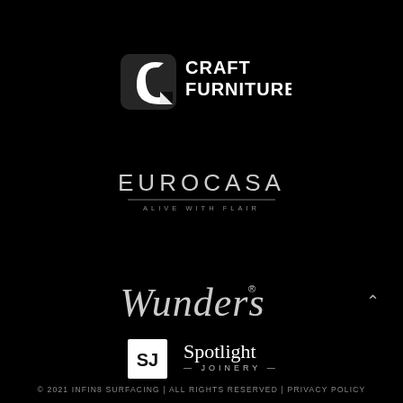[Figure (logo): Craft Furniture logo — white stylized C icon with 'CRAFT FURNITURE' text]
[Figure (logo): Eurocasa logo — white text 'EUROCASA' with tagline 'ALIVE WITH FLAIR' and underline]
[Figure (logo): Wunders script logo in white cursive with registered trademark symbol]
[Figure (logo): Spotlight Joinery logo — white square with 'SJ' and 'Spotlight JOINERY' text]
© 2021 INFIN8 SURFACING | ALL RIGHTS RESERVED | PRIVACY POLICY